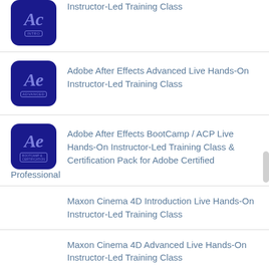Instructor-Led Training Class
Adobe After Effects Advanced Live Hands-On Instructor-Led Training Class
Adobe After Effects BootCamp / ACP Live Hands-On Instructor-Led Training Class & Certification Pack for Adobe Certified Professional
Maxon Cinema 4D Introduction Live Hands-On Instructor-Led Training Class
Maxon Cinema 4D Advanced Live Hands-On Instructor-Led Training Class
Related Solutions